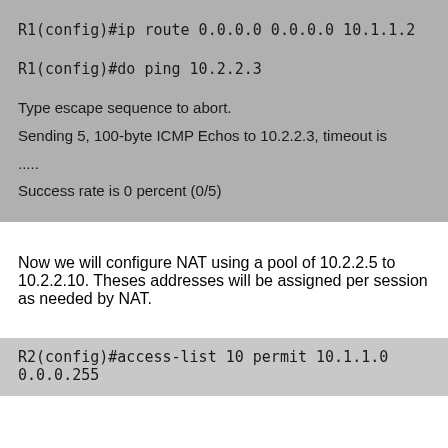R1(config)#ip route 0.0.0.0 0.0.0.0 10.1.1.2
R1(config)#do ping 10.2.2.3
Type escape sequence to abort.
Sending 5, 100-byte ICMP Echos to 10.2.2.3, timeout is
.....
Success rate is 0 percent (0/5)
Now we will configure NAT using a pool of 10.2.2.5 to 10.2.2.10. Theses addresses will be assigned per session as needed by NAT.
R2(config)#access-list 10 permit 10.1.1.0 0.0.0.255